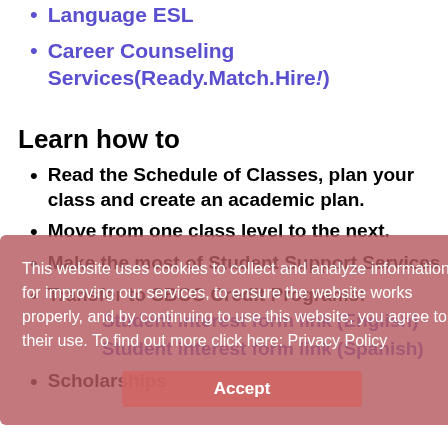Language ESL
Career Counseling Services(Ready.Match.Hire!)
Learn how to
Read the Schedule of Classes, plan your class and create an academic plan.
Move from one class level to the next.
Make the most of Student Support Services.
Transfer to SBCC Credit Programs: Student interest form link (English) Student interest form link (Spanish)
Scholarships
This website uses cookies to collect and analyze information for improving our services, to ensure the website works properly, and by continuing to use this website, you agree to their use. To find out more click here: Privacy Policy